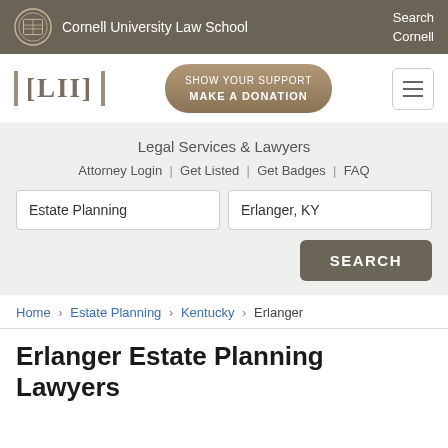Cornell University Law School  |  Search Cornell
[Figure (logo): LII Legal Information Institute logo with Cornell donation button and hamburger menu]
Legal Services & Lawyers
Attorney Login | Get Listed | Get Badges | FAQ
Estate Planning [search field]  Erlanger, KY [search field]  SEARCH [button]
Home › Estate Planning › Kentucky › Erlanger
Erlanger Estate Planning Lawyers